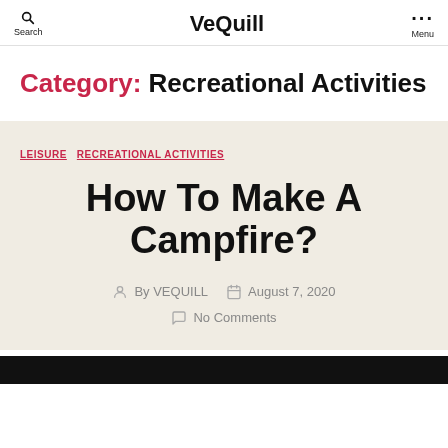Search | VeQuill | Menu
Category: Recreational Activities
LEISURE  RECREATIONAL ACTIVITIES
How To Make A Campfire?
By VEQUILL  August 7, 2020  No Comments